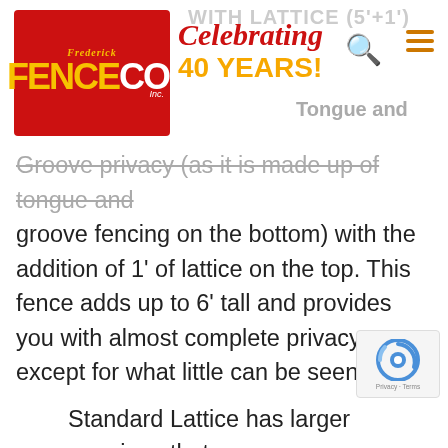Frederick Fence Co. — Celebrating 40 Years!
Groove privacy (as it is made up of tongue and groove fencing on the bottom) with the addition of 1' of lattice on the top. This fence adds up to 6' tall and provides you with almost complete privacy except for what little can be seen through the lattice. The lattice comes in different styles and sizes to suite different needs.
Standard Lattice has larger openings that